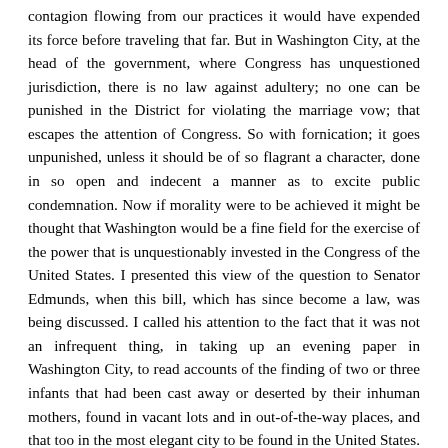contagion flowing from our practices it would have expended its force before traveling that far. But in Washington City, at the head of the government, where Congress has unquestioned jurisdiction, there is no law against adultery; no one can be punished in the District for violating the marriage vow; that escapes the attention of Congress. So with fornication; it goes unpunished, unless it should be of so flagrant a character, done in so open and indecent a manner as to excite public condemnation. Now if morality were to be achieved it might be thought that Washington would be a fine field for the exercise of the power that is unquestionably invested in the Congress of the United States. I presented this view of the question to Senator Edmunds, when this bill, which has since become a law, was being discussed. I called his attention to the fact that it was not an infrequent thing, in taking up an evening paper in Washington City, to read accounts of the finding of two or three infants that had been cast away or deserted by their inhuman mothers, found in vacant lots and in out-of-the-way places, and that too in the most elegant city to be found in the United States. It appeared to me, as I said to him, that Washington was a splendid field for the exercise of the power of Congress. If it was a sincere wish to check immorality and to put down